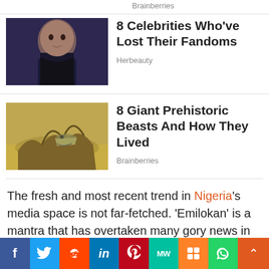Brainberries
[Figure (photo): Portrait photo of a dark-haired male celebrity]
8 Celebrities Who've Lost Their Fandoms
Herbeauty
[Figure (photo): Photo of prehistoric beast model/figurine diorama scene]
8 Giant Prehistoric Beasts And How They Lived
Brainberries
The fresh and most recent trend in Nigeria's media space is not far-fetched. ‘Emilokan’ is a mantra that has overtaken many gory news in the country. The new trend of ‘emilokan’ is on all social media spaces and has been a point of meme for all media influencers, comedians, and celebrities.
f  Twitter  Reddit  in  Pinterest  MW  Mix  WhatsApp  ^